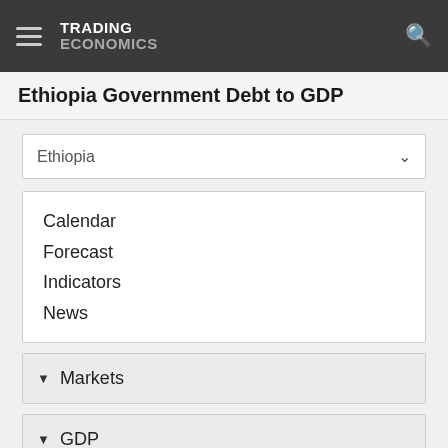TRADING ECONOMICS
Ethiopia Government Debt to GDP
Ethiopia
Calendar
Forecast
Indicators
News
Markets
GDP
Labour
Prices